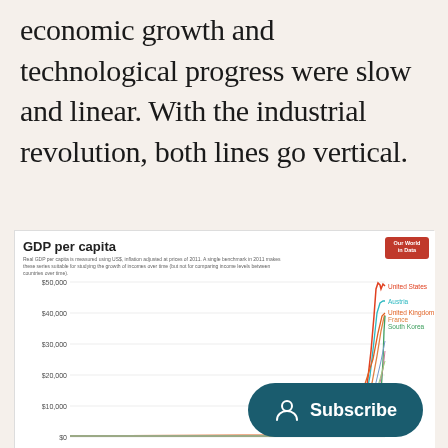economic growth and technological progress were slow and linear. With the industrial revolution, both lines go vertical.
[Figure (line-chart): Real GDP per capita measured in US$, inflation adjusted at prices of 2011. Lines for United States, Austria, United Kingdom, France, South Korea and others showing near-zero growth until industrial revolution then sharp vertical rise. Y-axis: $0 to $50,000. X-axis spans centuries ending around 2020.]